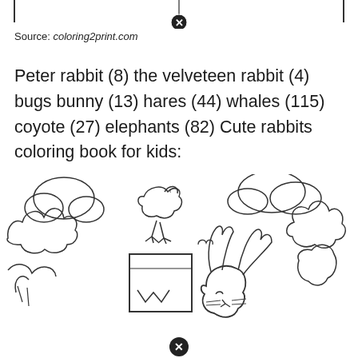[Figure (illustration): Top portion of a closed box with a close/remove button (circled X) at the bottom center of the box border]
Source: coloring2print.com
Peter rabbit (8) the velveteen rabbit (4) bugs bunny (13) hares (44) whales (115) coyote (27) elephants (82) Cute rabbits coloring book for kids:
[Figure (illustration): Line drawing / coloring page illustration showing rabbits and a bird among clouds and bushes. A bird sits on top of a rectangular object on the left, and a rabbit with large ears is visible in the center-right. At the bottom is another circled X close button.]